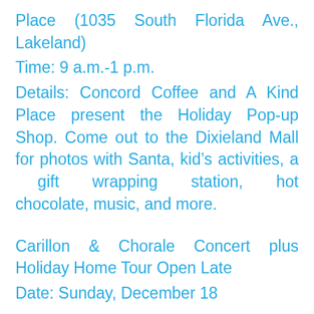Place (1035 South Florida Ave., Lakeland)
Time: 9 a.m.-1 p.m.
Details: Concord Coffee and A Kind Place present the Holiday Pop-up Shop. Come out to the Dixieland Mall for photos with Santa, kid’s activities, a gift wrapping station, hot chocolate, music, and more.
Carillon & Chorale Concert plus Holiday Home Tour Open Late
Date: Sunday, December 18